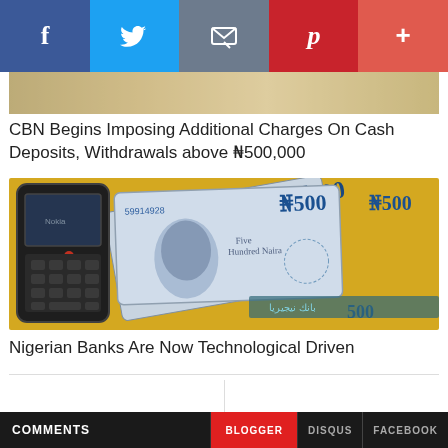[Figure (screenshot): Social media share bar with Facebook, Twitter, Email, Pinterest, and More buttons]
[Figure (photo): Partial top of an image showing cash/money]
CBN Begins Imposing Additional Charges On Cash Deposits, Withdrawals above N500,000
[Figure (photo): Nokia mobile phone placed on top of Nigerian Naira N500 banknotes on a yellow surface]
Nigerian Banks Are Now Technological Driven
COMMENTS   BLOGGER   DISQUS   FACEBOOK